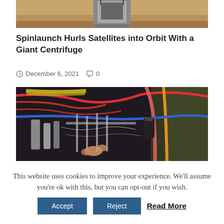[Figure (photo): Partial top view of a satellite or space-related device mounted in sandy/earthy surroundings]
Spinlaunch Hurls Satellites into Orbit With a Giant Centrifuge
December 6, 2021   0
[Figure (photo): Close-up of complex wiring and mechanical components, with colorful cables (red, blue, yellow) and a technician's hand visible]
This website uses cookies to improve your experience. We'll assume you're ok with this, but you can opt-out if you wish. Accept Reject Read More